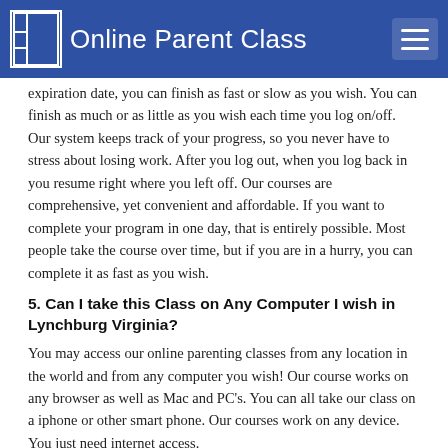Online Parent Class
expiration date, you can finish as fast or slow as you wish.  You can finish as much or as little as you wish each time you log on/off.  Our system keeps track of your progress, so you never have to stress about losing work.  After you log out, when you log back in you resume right where you left off. Our courses are comprehensive, yet convenient and affordable.  If you want to complete your program in one day, that is entirely possible.  Most people take the course over time, but if you are in a hurry, you can complete it as fast as you wish.
5. Can I take this Class on Any Computer I wish in Lynchburg Virginia?
You may access our online parenting classes from any location in the world and from any computer you wish!  Our course works on any browser as well as Mac and PC's.  You can all take our class on a iphone or other smart phone.  Our courses work on any device.  You just need internet access.
6. What if I have trouble with the Final Exam?